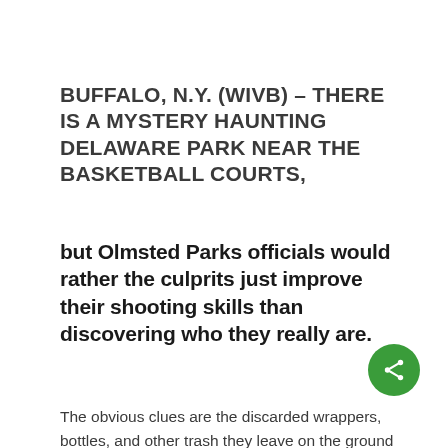BUFFALO, N.Y. (WIVB) – THERE IS A MYSTERY HAUNTING DELAWARE PARK NEAR THE BASKETBALL COURTS,
but Olmsted Parks officials would rather the culprits just improve their shooting skills than discovering who they really are.
The obvious clues are the discarded wrappers, bottles, and other trash they leave on the ground when garbage totes are as close as a layup.
A concerned resident posted pictures on a